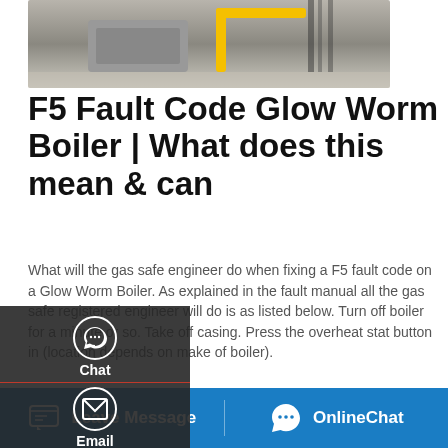[Figure (photo): Industrial boiler equipment with yellow safety railing/bar, viewed from above on a concrete floor.]
F5 Fault Code Glow Worm Boiler | What does this mean & can
What will the gas safe engineer do when fixing a F5 fault code on a Glow Worm Boiler. As explained in the fault manual all the gas safe registered engineer will do is as listed below. Turn off boiler for a minute or so. Take off casing. Press the overheat stat button in (location depends on make of boiler).
[Figure (screenshot): Left sidebar with dark background showing Chat, Email, and Contact options with icons]
[Figure (other): Get a Quote yellow rounded button]
[Figure (screenshot): Save Stickers on WhatsApp banner with purple/pink gradient and WhatsApp icons]
[Figure (screenshot): Blue bottom navigation bar with Leave Message and OnlineChat options]